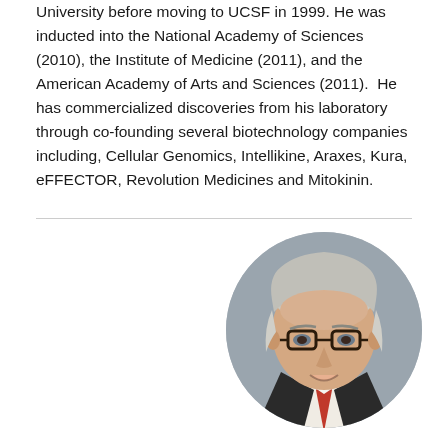University before moving to UCSF in 1999. He was inducted into the National Academy of Sciences (2010), the Institute of Medicine (2011), and the American Academy of Arts and Sciences (2011).  He has commercialized discoveries from his laboratory through co-founding several biotechnology companies including, Cellular Genomics, Intellikine, Araxes, Kura, eFFECTOR, Revolution Medicines and Mitokinin.
[Figure (photo): Circular cropped professional headshot of a middle-aged man with gray/white hair, glasses with dark frames, wearing a dark suit jacket, white shirt, and red tie, smiling, against a gray background.]